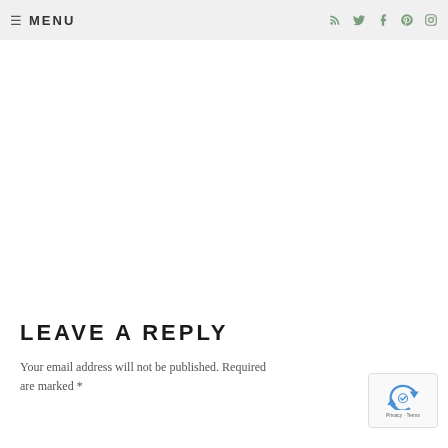≡ MENU
LEAVE A REPLY
Your email address will not be published. Required are marked *